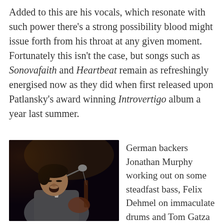Added to this are his vocals, which resonate with such power there's a strong possibility blood might issue forth from his throat at any given moment. Fortunately this isn't the case, but songs such as Sonovafaith and Heartbeat remain as refreshingly energised now as they did when first released upon Patlansky's award winning Introvertigo album a year last summer.
[Figure (photo): A man in a grey blazer singing or performing passionately into a microphone, also playing guitar, photographed against a dark background with stage lighting.]
German backers Jonathan Murphy working out on some steadfast bass, Felix Dehmel on immaculate drums and Tom Gatza demonstrating some quite astonishing keyboard mastery, Patlansky's launch pad is